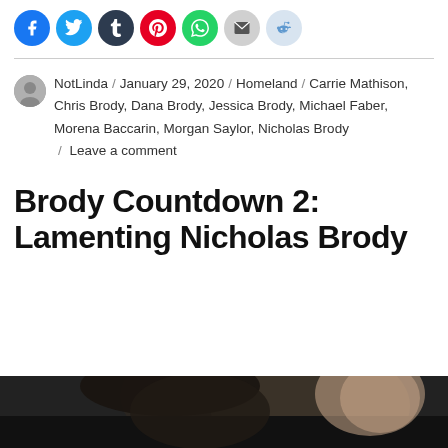[Figure (other): Row of social media sharing buttons: Facebook (blue), Twitter (light blue), Tumblr (dark), Pinterest (red), WhatsApp (green), Email (grey), Reddit (light blue)]
NotLinda / January 29, 2020 / Homeland / Carrie Mathison, Chris Brody, Dana Brody, Jessica Brody, Michael Faber, Morena Baccarin, Morgan Saylor, Nicholas Brody / Leave a comment
Brody Countdown 2: Lamenting Nicholas Brody
[Figure (photo): Dark photograph showing a person, partially visible, bottom portion of page]